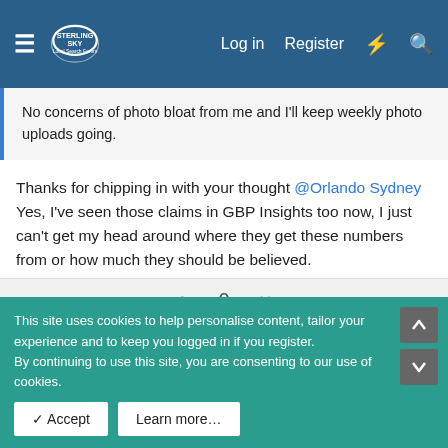Sterling Sky Local Search Forum — Log in | Register
No concerns of photo bloat from me and I'll keep weekly photo uploads going.
Thanks for chipping in with your thought @Orlando Sydney Yes, I've seen those claims in GBP Insights too now, I just can't get my head around where they get these numbers from or how much they should be believed.
0
georgenenni
This site uses cookies to help personalise content, tailor your experience and to keep you logged in if you register.
By continuing to use this site, you are consenting to our use of cookies.